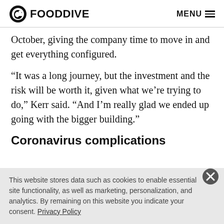FOOD DIVE  MENU
October, giving the company time to move in and get everything configured.
“It was a long journey, but the investment and the risk will be worth it, given what we’re trying to do,” Kerr said. “And I’m really glad we ended up going with the bigger building.”
Coronavirus complications
This website stores data such as cookies to enable essential site functionality, as well as marketing, personalization, and analytics. By remaining on this website you indicate your consent. Privacy Policy